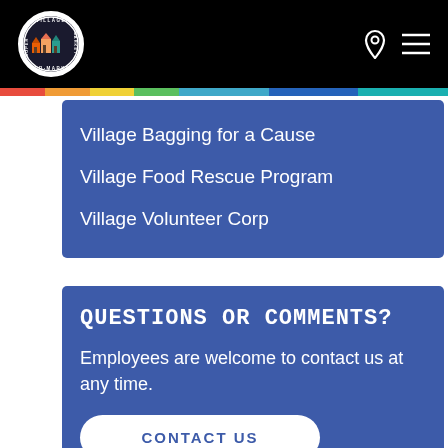[Figure (logo): Village Super Market circular logo with illustration of buildings]
Village Bagging for a Cause
Village Food Rescue Program
Village Volunteer Corp
QUESTIONS OR COMMENTS?
Employees are welcome to contact us at any time.
CONTACT US